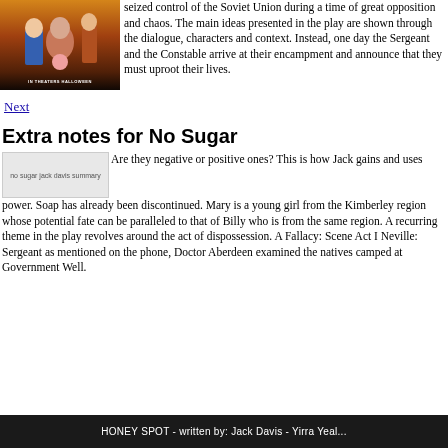[Figure (photo): Movie poster for an animated film showing animated characters, with text 'IN THEATERS HALLOWEEN' at the bottom]
seized control of the Soviet Union during a time of great opposition and chaos. The main ideas presented in the play are shown through the dialogue, characters and context. Instead, one day the Sergeant and the Constable arrive at their encampment and announce that they must uproot their lives.
Next
Extra notes for No Sugar
[Figure (photo): no sugar jack davis summary]
Are they negative or positive ones? This is how Jack gains and uses power. Soap has already been discontinued. Mary is a young girl from the Kimberley region whose potential fate can be paralleled to that of Billy who is from the same region. A recurring theme in the play revolves around the act of dispossession. A Fallacy: Scene Act I Neville: Sergeant as mentioned on the phone, Doctor Aberdeen examined the natives camped at Government Well.
HONEY SPOT - written by: Jack Davis - Yirra Yeal...